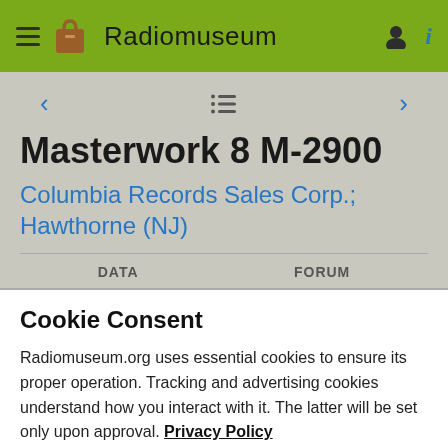Radiomuseum
Masterwork 8 M-2900
Columbia Records Sales Corp.; Hawthorne (NJ)
Cookie Consent
Radiomuseum.org uses essential cookies to ensure its proper operation. Tracking and advertising cookies understand how you interact with it. The latter will be set only upon approval. Privacy Policy